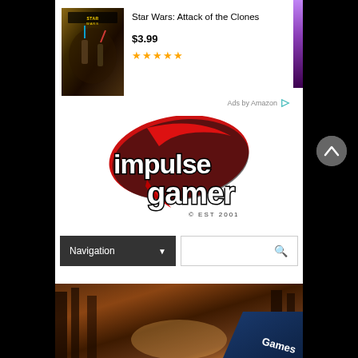[Figure (screenshot): Amazon ad for Star Wars: Attack of the Clones movie poster, showing $3.99 price and 4.5 star rating, with purple accent bar on right]
Star Wars: Attack of the Clones
$3.99
Ads by Amazon
[Figure (logo): Impulse Gamer logo with red swoosh and © EST 2001 text]
Navigation
[Figure (photo): Forest/outdoor scene with diagonal Games banner in dark blue in bottom-right corner]